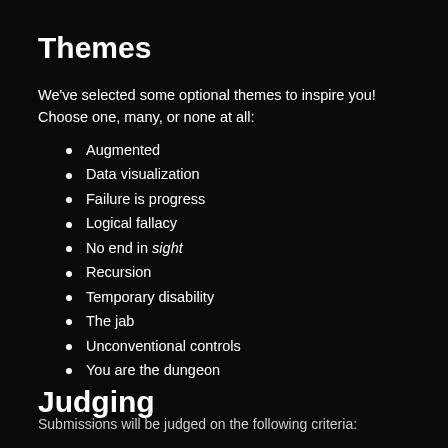Themes
We've selected some optional themes to inspire you! Choose one, many, or none at all:
Augmented
Data visualization
Failure is progress
Logical fallacy
No end in sight
Recursion
Temporary disability
The jab
Unconventional controls
You are the dungeon
Judging
Submissions will be judged on the following criteria: